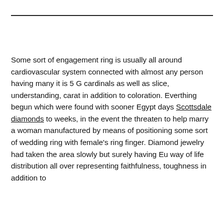Some sort of engagement ring is usually all around cardiovascular system connected with almost any person having many it is 5 G cardinals as well as slice, understanding, carat in addition to coloration. Everthing begun which were found with sooner Egypt days Scottsdale diamonds to weeks, in the event the threaten to help marry a woman manufactured by means of positioning some sort of wedding ring with female's ring finger. Diamond jewelry had taken the area slowly but surely having Eu way of life distribution all over representing faithfulness, toughness in addition to